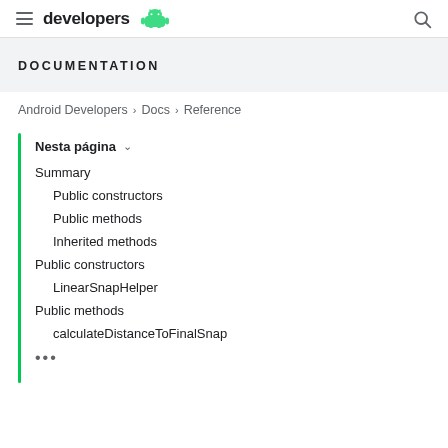developers (Android logo)
DOCUMENTATION
Android Developers > Docs > Reference
Nesta página ∨
Summary
Public constructors
Public methods
Inherited methods
Public constructors
LinearSnapHelper
Public methods
calculateDistanceToFinalSnap
•••